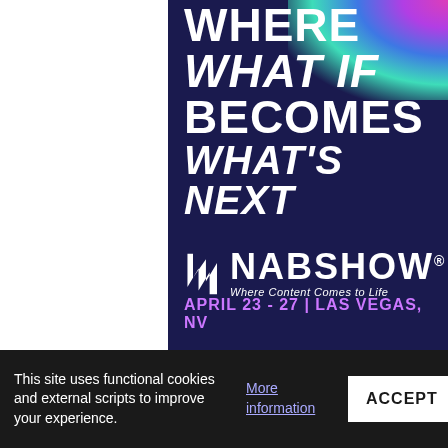[Figure (illustration): NAB Show advertisement banner with dark navy background, colorful light bokeh in top-right corner (pink, purple, green, blue), large white bold text reading WHERE / WHAT IF / BECOMES / WHAT'S NEXT, NAB Show logo with lightning bolt icon and tagline 'Where Content Comes to Life', date text APRIL 23 - 27 | LAS VEGAS, NV in purple]
This site uses functional cookies and external scripts to improve your experience.
More information
ACCEPT